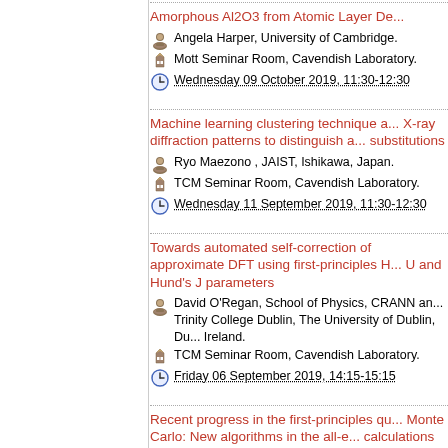Amorphous Al2O3 from Atomic Layer De...
Angela Harper, University of Cambridge.
Mott Seminar Room, Cavendish Laboratory.
Wednesday 09 October 2019, 11:30-12:30
Machine learning clustering technique applied to X-ray diffraction patterns to distinguish atomic substitutions
Ryo Maezono , JAIST, Ishikawa, Japan.
TCM Seminar Room, Cavendish Laboratory.
Wednesday 11 September 2019, 11:30-12:30
Towards automated self-correction of approximate DFT using first-principles Hubbard U and Hund's J parameters
David O'Regan, School of Physics, CRANN and AMBER, Trinity College Dublin, The University of Dublin, Dublin, Ireland.
TCM Seminar Room, Cavendish Laboratory.
Friday 06 September 2019, 14:15-15:15
Recent progress in the first-principles quantum Monte Carlo: New algorithms in the all-electron calculations and a workflow system for C...